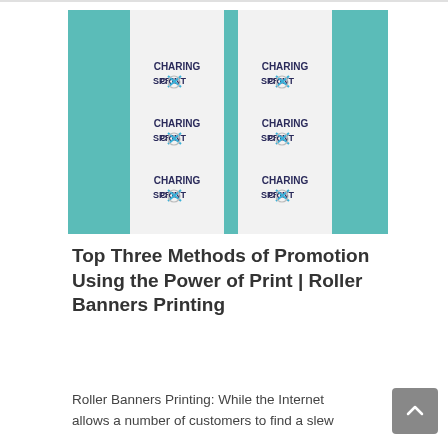[Figure (photo): Two roller banners side by side, each with teal/turquoise side panels and white center panels displaying the Charing Cross Print logo three times vertically.]
Top Three Methods of Promotion Using the Power of Print | Roller Banners Printing
Roller Banners Printing: While the Internet allows a number of customers to find a slew